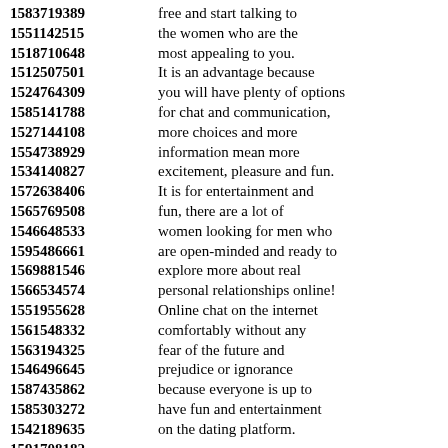1583719389 free and start talking to
1551142515 the women who are the
1518710648 most appealing to you.
1512507501 It is an advantage because
1524764309 you will have plenty of options
1585141788 for chat and communication,
1527144108 more choices and more
1554738929 information mean more
1534140827 excitement, pleasure and fun.
1572638406 It is for entertainment and
1565769508 fun, there are a lot of
1546648533 women looking for men who
1595486661 are open-minded and ready to
1569881546 explore more about real
1566534574 personal relationships online!
1551955628 Online chat on the internet
1561548332 comfortably without any
1563194325 fear of the future and
1546496645 prejudice or ignorance
1587435862 because everyone is up to
1585303272 have fun and entertainment
1542189635 on the dating platform.
1591708182
1559805264 The platform enables users
1518759825 and women looking for love